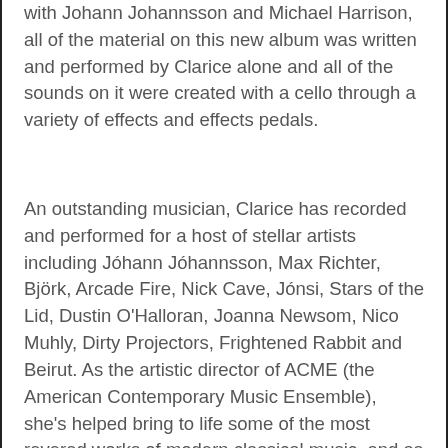with Johann Johannsson and Michael Harrison, all of the material on this new album was written and performed by Clarice alone and all of the sounds on it were created with a cello through a variety of effects and effects pedals.
An outstanding musician, Clarice has recorded and performed for a host of stellar artists including Jóhann Jóhannsson, Max Richter, Björk, Arcade Fire, Nick Cave, Jónsi, Stars of the Lid, Dustin O'Halloran, Joanna Newsom, Nico Muhly, Dirty Projectors, Frightened Rabbit and Beirut. As the artistic director of ACME (the American Contemporary Music Ensemble), she's helped bring to life some of the most revered works of modern classical music, and as a solo artist has developed a distinctive compositional approach - improvising and layering her instrument through loops and a chain of electronic effects to open out a series of rich, drone-based sound fields. Forging a very elegant and precise vision, her music has been described by